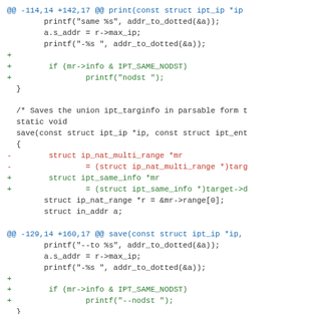code diff showing changes to ipt_same netfilter module in Linux kernel